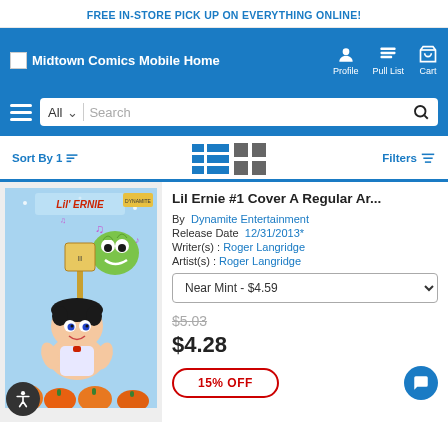FREE IN-STORE PICK UP ON EVERYTHING ONLINE!
Midtown Comics Mobile Home | Profile | Pull List | Cart
Sort By 1 | Filters
Lil Ernie #1 Cover A Regular Ar...
By Dynamite Entertainment
Release Date 12/31/2013*
Writer(s) : Roger Langridge
Artist(s) : Roger Langridge
Near Mint - $4.59
$5.03
$4.28
15% OFF